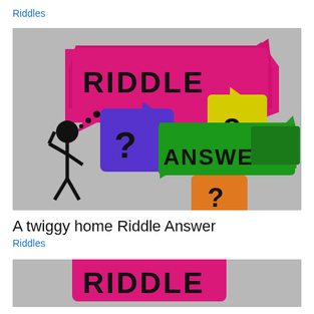Riddles
[Figure (illustration): Colorful graphic with speech bubbles containing the words RIDDLE and ANSWER with question marks, and a stick figure person scratching their head]
A twiggy home Riddle Answer
Riddles
[Figure (illustration): Partial view of same riddle/answer graphic showing RIDDLE text on pink speech bubble]